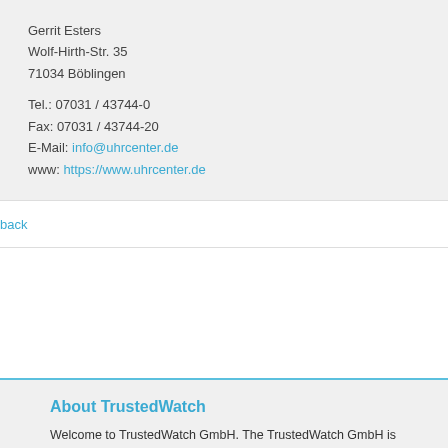Gerrit Esters
Wolf-Hirth-Str. 35
71034 Böblingen

Tel.: 07031 / 43744-0
Fax: 07031 / 43744-20
E-Mail: info@uhrcenter.de
www: https://www.uhrcenter.de
back
About TrustedWatch
Welcome to TrustedWatch GmbH. The TrustedWatch GmbH is one of the lead enterprise for the watch and jewellery sector in Europe. With its high-coverage and marketplaces in a variety of languages, and with an additional press distri